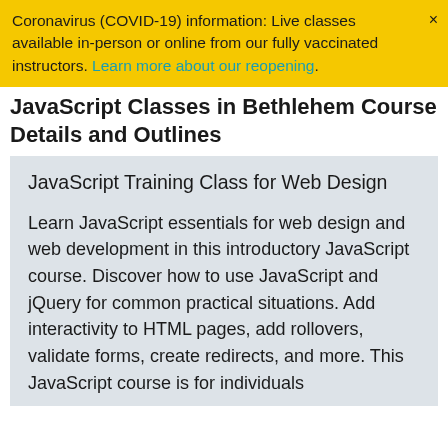Coronavirus (COVID-19) information: Live classes available in-person or online from our fully vaccinated instructors. Learn more about our reopening.
JavaScript Classes in Bethlehem Course Details and Outlines
JavaScript Training Class for Web Design
Learn JavaScript essentials for web design and web development in this introductory JavaScript course. Discover how to use JavaScript and jQuery for common practical situations. Add interactivity to HTML pages, add rollovers, validate forms, create redirects, and more. This JavaScript course is for individuals